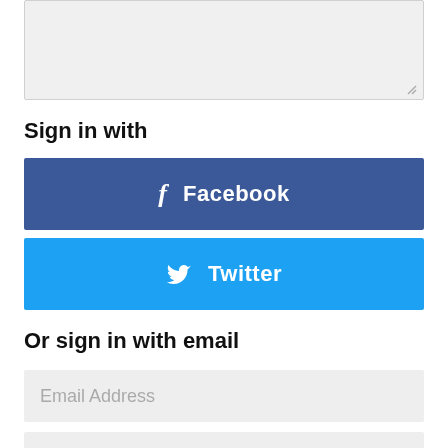[Figure (screenshot): A grey textarea input box with a resize handle in the bottom-right corner]
Sign in with
[Figure (screenshot): Facebook sign-in button, dark blue background with Facebook 'f' icon and text 'Facebook' in white]
[Figure (screenshot): Twitter sign-in button, light blue background with Twitter bird icon and text 'Twitter' in white]
Or sign in with email
[Figure (screenshot): Email Address text input field with grey background and placeholder text 'Email Address']
[Figure (screenshot): Password text input field with grey background and placeholder text 'Password']